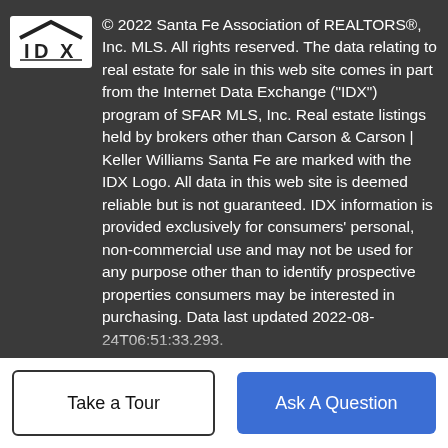© 2022 Santa Fe Association of REALTORS®, Inc. MLS. All rights reserved. The data relating to real estate for sale in this web site comes in part from the Internet Data Exchange ("IDX") program of SFAR MLS, Inc. Real estate listings held by brokers other than Carson & Carson | Keller Williams Santa Fe are marked with the IDX Logo. All data in this web site is deemed reliable but is not guaranteed. IDX information is provided exclusively for consumers' personal, non-commercial use and may not be used for any purpose other than to identify prospective properties consumers may be interested in purchasing. Data last updated 2022-08-24T06:51:33.293.
IDX information © 2022 The Southwest Multiple Listing Service, Inc. IDX information is provided exclusively for consumers' personal, non-commercial use and may not be used for any purpose other than to identify prospective properties consumers may be interested in purchasing.